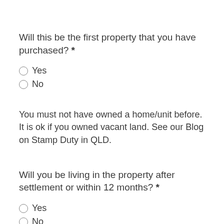Will this be the first property that you have purchased? *
Yes
No
You must not have owned a home/unit before. It is ok if you owned vacant land. See our Blog on Stamp Duty in QLD.
Will you be living in the property after settlement or within 12 months? *
Yes
No